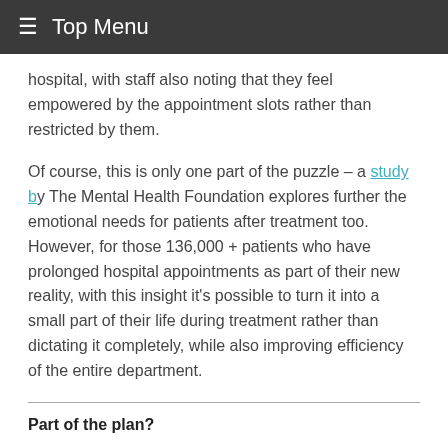≡ Top Menu
hospital, with staff also noting that they feel empowered by the appointment slots rather than restricted by them.
Of course, this is only one part of the puzzle – a study by The Mental Health Foundation explores further the emotional needs for patients after treatment too. However, for those 136,000 + patients who have prolonged hospital appointments as part of their new reality, with this insight it's possible to turn it into a small part of their life during treatment rather than dictating it completely, while also improving efficiency of the entire department.
Part of the plan?
Digital solutions are nothing new within the NHS, with the